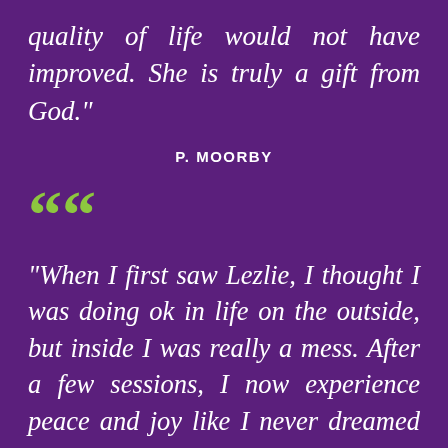quality of life would not have improved. She is truly a gift from God."
P. MOORBY
““
"When I first saw Lezlie, I thought I was doing ok in life on the outside, but inside I was really a mess. After a few sessions, I now experience peace and joy like I never dreamed possible!